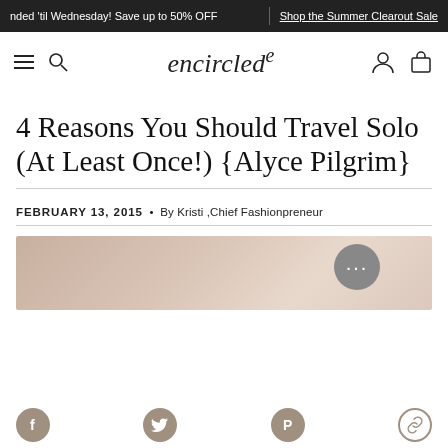ded 'til Wednesday! Save up to 50% OFF | Shop the Summer Clearout Sale
encircled
4 Reasons You Should Travel Solo (At Least Once!) {Alyce Pilgrim}
FEBRUARY 13, 2015 • By Kristi ,Chief Fashionpreneur
[Figure (photo): Article header image showing a neutral beige/tan blurred background photo]